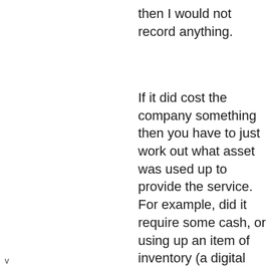then I would not record anything.
If it did cost the company something then you have to just work out what asset was used up to provide the service. For example, did it require some cash, or using up an item of inventory (a digital asset)? If so you could take the cost of delivering that data/SMS service and record this as an expense against the existing asset as shown
v